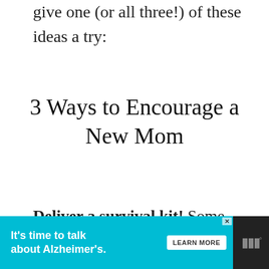give one (or all three!) of these ideas a try:
3 Ways to Encourage a New Mom
Deliver a survival kit! Some moms may be all about having visitors, but some may prefer you simply surprise them by leaving a basket of goodies on her porch and then shooting her a quick text to check in.
[Figure (screenshot): Alzheimer's Association advertisement banner: teal background with text 'It's time to talk about Alzheimer's.' and a 'LEARN MORE' button, with alzheimer's association logo, and a dark strip on the right with triple-M logo.]